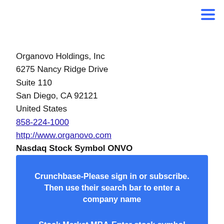[Figure (other): Hamburger menu icon (three horizontal blue lines) in top-right corner]
Organovo Holdings, Inc
6275 Nancy Ridge Drive
Suite 110
San Diego, CA 92121
United States
858-224-1000
http://www.organovo.com
Nasdaq Stock Symbol ONVO
Crunchbase-Please sign in or subscribe.
Then use their search bar to enter a
company name
Stock Market MBA-Enter stock symbol
ONVO and then click on it to get